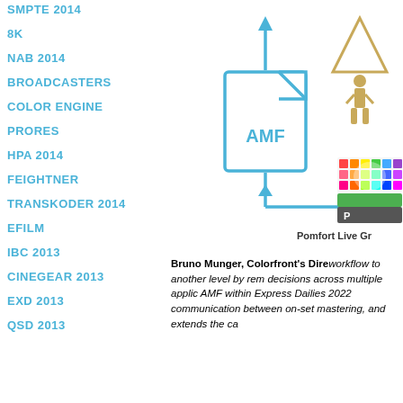SMPTE 2014
8K
NAB 2014
BROADCASTERS
COLOR ENGINE
PRORES
HPA 2014
FEIGHTNER
TRANSKODER 2014
EFILM
IBC 2013
CINEGEAR 2013
EXD 2013
QSD 2013
[Figure (infographic): Diagram showing AMF file icon with arrows, an Academy Award Oscar logo, and a Pomfort Live Grade product image with colorful cube on green/grey base.]
Pomfort Live Gr...
Bruno Munger, Colorfront’s Dire... workflow to another level by rem... decisions across multiple applic... AMF within Express Dailies 2022... communication between on-set ... mastering, and extends the ca...